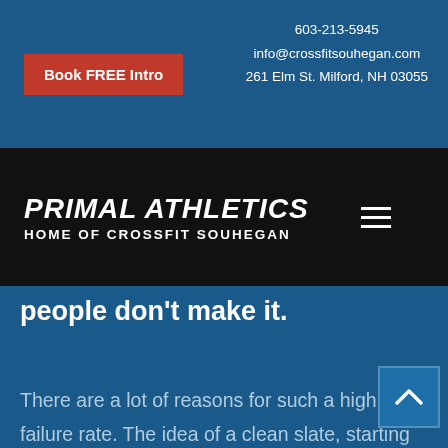603-213-5945
info@crossfitsouhegan.com
261 Elm St. Milford, NH 03055
[Figure (logo): Red button with text 'Book FREE Intro']
[Figure (logo): Primal Athletics - Home of CrossFit Souhegan navigation bar with hamburger menu icon]
people don't make it.
There are a lot of reasons for such a high failure rate. The idea of a clean slate, starting fresh on January 1st inspires many to overreach. Despite displaying zero interest in curbing sweets throughout the previous